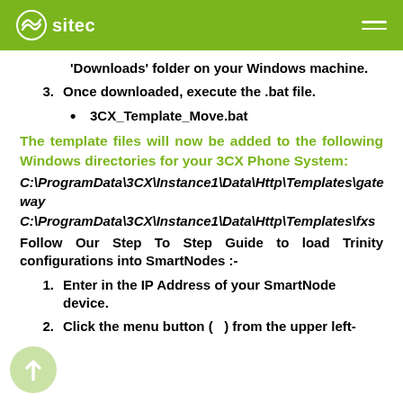sitec
'Downloads' folder on your Windows machine.
3. Once downloaded, execute the .bat file.
• 3CX_Template_Move.bat
The template files will now be added to the following Windows directories for your 3CX Phone System:
C:\ProgramData\3CX\Instance1\Data\Http\Templates\gateway
C:\ProgramData\3CX\Instance1\Data\Http\Templates\fxs
Follow Our Step To Step Guide to load Trinity configurations into SmartNodes :-
1. Enter in the IP Address of your SmartNode device.
2. Click the menu button (  ) from the upper left-